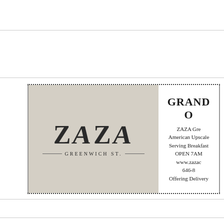[Figure (logo): ZAZA Greenwich St. restaurant advertisement with logo on beige/tan background on the left and text on white on the right, enclosed in a dotted border. Text reads: GRAND O[pening], ZAZA Gre[enwich St.], American Upscale [Cuisine], Serving Breakfast [...], OPEN 7AM [...], www.zaza[...], 646-8[...], Offering Delivery [...]]